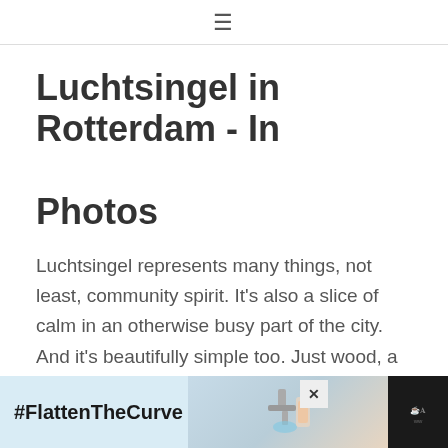≡
Luchtsingel in Rotterdam - In Photos
Luchtsingel represents many things, not least, community spirit. It's also a slice of calm in an otherwise busy part of the city. And it's beautifully simple too. Just wood, a little height, a lot of air and a way to see the city from a different perspective.
[Figure (other): Advertisement banner: #FlattenTheCurve with image of faucet and hands washing, with close button X and logo on the right]